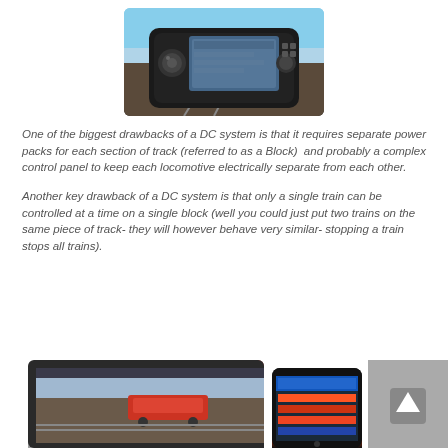[Figure (photo): A handheld DCC model train controller device with a screen and knob, photographed against a sky and track background]
One of the biggest drawbacks of a DC system is that it requires separate power packs for each section of track (referred to as a Block)  and probably a complex control panel to keep each locomotive electrically separate from each other.
Another key drawback of a DC system is that only a single train can be controlled at a time on a single block (well you could just put two trains on the same piece of track- they will however behave very similar- stopping a train stops all trains).
[Figure (photo): Bottom row of images showing: a computer screen with model train software displaying a train scene, a smartphone with a model train app, and a partial grey panel with an up arrow button]